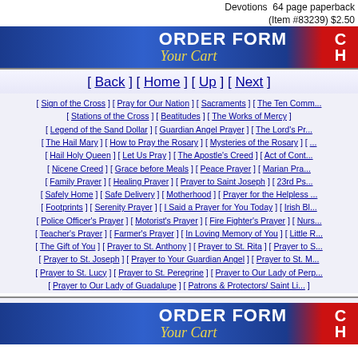Devotions  64 page paperback
(Item #83239) $2.50
[Figure (other): ORDER FORM / Your Cart banner header (blue gradient with white bold text and yellow italic script)]
[ Back ] [ Home ] [ Up ] [ Next ]
[ Sign of the Cross ] [ Pray for Our Nation ] [ Sacraments ] [ The Ten Comm... ] [ Stations of the Cross ] [ Beatitudes ] [ The Works of Mercy ] [ Legend of the Sand Dollar ] [ Guardian Angel Prayer ] [ The Lord's Pr... ] [ The Hail Mary ] [ How to Pray the Rosary ] [ Mysteries of the Rosary ] [ ... ] [ Hail Holy Queen ] [ Let Us Pray ] [ The Apostle's Creed ] [ Act of Cont... ] [ Nicene Creed ] [ Grace before Meals ] [ Peace Prayer ] [ Marian Pra... ] [ Family Prayer ] [ Healing Prayer ] [ Prayer to Saint Joseph ] [ 23rd Ps... ] [ Safely Home ] [ Safe Delivery ] [ Motherhood ] [ Prayer for the Helpless ... ] [ Footprints ] [ Serenity Prayer ] [ I Said a Prayer for You Today ] [ Irish Bl... ] [ Police Officer's Prayer ] [ Motorist's Prayer ] [ Fire Fighter's Prayer ] [ Nurs... ] [ Teacher's Prayer ] [ Farmer's Prayer ] [ In Loving Memory of You ] [ Little R... ] [ The Gift of You ] [ Prayer to St. Anthony ] [ Prayer to St. Rita ] [ Prayer to S... ] [ Prayer to St. Joseph ] [ Prayer to Your Guardian Angel ] [ Prayer to St. M... ] [ Prayer to St. Lucy ] [ Prayer to St. Peregrine ] [ Prayer to Our Lady of Perp... ] [ Prayer to Our Lady of Guadalupe ] [ Patrons & Protectors/ Saint Li... ]
[Figure (other): ORDER FORM / Your Cart banner footer (blue gradient with white bold text and yellow italic script)]